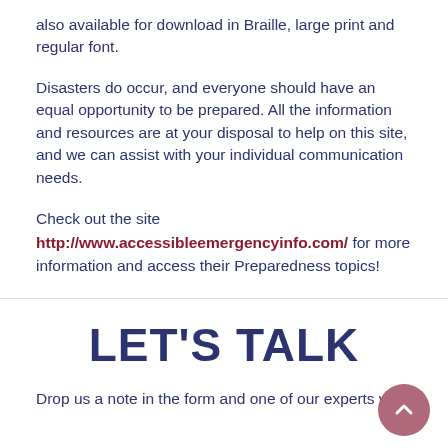also available for download in Braille, large print and regular font.
Disasters do occur, and everyone should have an equal opportunity to be prepared. All the information and resources are at your disposal to help on this site, and we can assist with your individual communication needs.
Check out the site http://www.accessibleemergencyinfo.com/ for more information and access their Preparedness topics!
LET'S TALK
Drop us a note in the form and one of our experts will